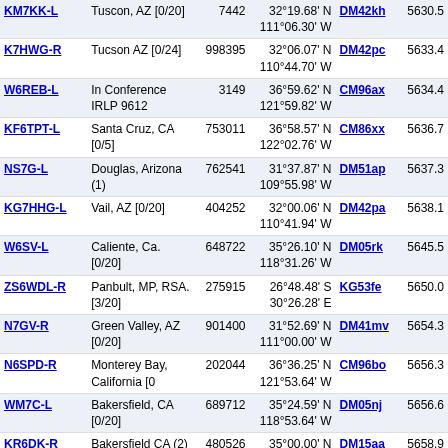| Callsign | Location | Node | Coordinates | Grid | Freq |
| --- | --- | --- | --- | --- | --- |
| KM7KK-L | Tuscon, AZ [0/20] | 7442 | 32°19.68' N 111°06.30' W | DM42kh | 5630.5 |
| K7HWG-R | Tucson AZ [0/24] | 998395 | 32°06.07' N 110°44.70' W | DM42pc | 5633.4 |
| W6REB-L | In Conference IRLP 9612 | 3149 | 36°59.62' N 121°59.82' W | CM96ax | 5634.4 |
| KF6TPT-L | Santa Cruz, CA [0/5] | 753011 | 36°58.57' N 122°02.76' W | CM86xx | 5636.7 |
| NS7G-L | Douglas, Arizona (1) | 762541 | 31°37.87' N 109°55.98' W | DM51ap | 5637.3 |
| KG7HHG-L | Vail, AZ [0/20] | 404252 | 32°00.06' N 110°41.94' W | DM42pa | 5638.1 |
| W6SV-L | Caliente, Ca. [0/20] | 648722 | 35°26.10' N 118°31.26' W | DM05rk | 5645.5 |
| ZS6WDL-R | Panbult, MP, RSA. [3/20] | 275915 | 26°48.48' S 30°26.28' E | KG53fe | 5650.0 |
| N7GV-R | Green Valley, AZ [0/20] | 901400 | 31°52.69' N 111°00.00' W | DM41mv | 5654.3 |
| N6SPD-R | Monterey Bay, California [0 | 202044 | 36°36.25' N 121°53.64' W | CM96bo | 5656.3 |
| WM7C-L | Bakersfield, CA [0/20] | 689712 | 35°24.59' N 118°53.64' W | DM05nj | 5656.6 |
| KR6DK-R | Bakersfield CA (2) | 480526 | 35°00.00' N 118°00.00' W | DM15aa | 5658.9 |
| KN6LT-L | California [0/20] | 503508 | 35°24.00' N 119°00.00' W | DM05mj | 5659.9 |
| RM4AIK-I | Kaohsiung City | 316632 | 22°38.20' N | RL02dn | 5661. |